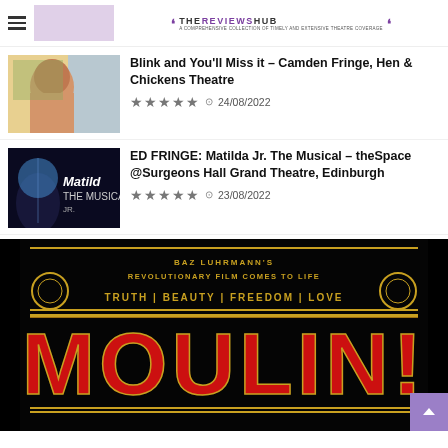THE REVIEWS HUB — A COMPREHENSIVE COLLECTION OF TIMELY AND EXTENSIVE THEATRE COVERAGE
Blink and You'll Miss it – Camden Fringe, Hen & Chickens Theatre
★★★★★ 24/08/2022
ED FRINGE: Matilda Jr. The Musical – theSpace @Surgeons Hall Grand Theatre, Edinburgh
★★★★★ 23/08/2022
[Figure (photo): Moulin Rouge musical marquee: BAZ LUHRMANN'S REVOLUTIONARY FILM COMES TO LIFE — TRUTH | BEAUTY | FREEDOM | LOVE — MOULIN! in red letters on black background]